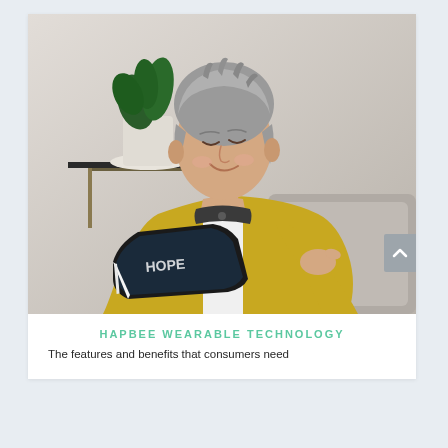[Figure (photo): An older woman with short gray hair, wearing a yellow cardigan and a dark wearable device around her neck, sitting in a gray chair and reading a magazine. A plant in a white pot is visible in the background on a dark shelf.]
HAPBEE WEARABLE TECHNOLOGY
The features and benefits that consumers need